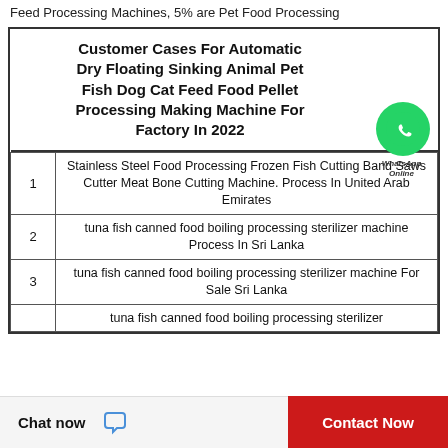Feed Processing Machines, 5% are Pet Food Processing
|  | Customer Cases For Automatic Dry Floating Sinking Animal Pet Fish Dog Cat Feed Food Pellet Processing Making Machine For Factory In 2022 |
| --- | --- |
| 1 | Stainless Steel Food Processing Frozen Fish Cutting Band Saws Cutter Meat Bone Cutting Machine. Process In United Arab Emirates |
| 2 | tuna fish canned food boiling processing sterilizer machine Process In Sri Lanka |
| 3 | tuna fish canned food boiling processing sterilizer machine For Sale Sri Lanka |
| 4 | tuna fish canned food boiling processing sterilizer... |
Chat now   Contact Now